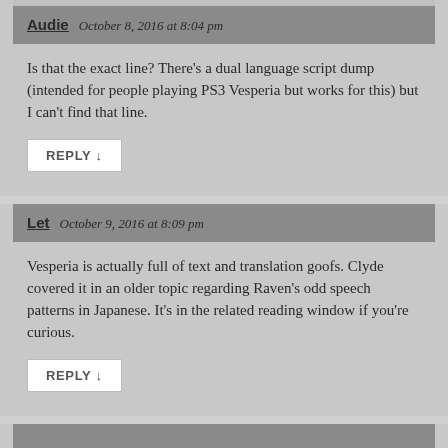Audie   October 8, 2016 at 8:04 pm
Is that the exact line? There's a dual language script dump (intended for people playing PS3 Vesperia but works for this) but I can't find that line.
REPLY ↓
Let   October 9, 2016 at 8:09 pm
Vesperia is actually full of text and translation goofs. Clyde covered it in an older topic regarding Raven's odd speech patterns in Japanese. It's in the related reading window if you're curious.
REPLY ↓